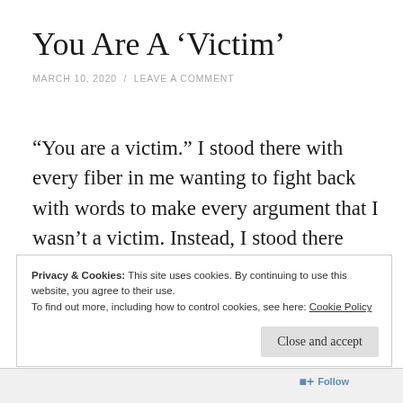You Are A ‘Victim’
MARCH 10, 2020 / LEAVE A COMMENT
“You are a victim.” I stood there with every fiber in me wanting to fight back with words to make every argument that I wasn’t a victim. Instead, I stood there silently allowing the words to penetrate my walls so that I could see what they saw.
Privacy & Cookies: This site uses cookies. By continuing to use this website, you agree to their use.
To find out more, including how to control cookies, see here: Cookie Policy